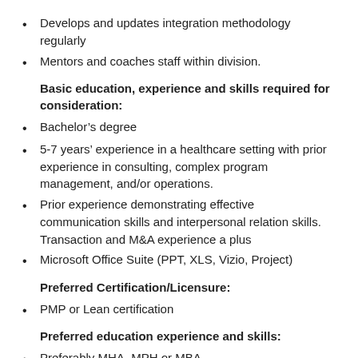Develops and updates integration methodology regularly
Mentors and coaches staff within division.
Basic education, experience and skills required for consideration:
Bachelor’s degree
5-7 years’ experience in a healthcare setting with prior experience in consulting, complex program management, and/or operations.
Prior experience demonstrating effective communication skills and interpersonal relation skills. Transaction and M&A experience a plus
Microsoft Office Suite (PPT, XLS, Vizio, Project)
Preferred Certification/Licensure:
PMP or Lean certification
Preferred education experience and skills:
Preferably MHA, MPH or MBA
Additional Information: